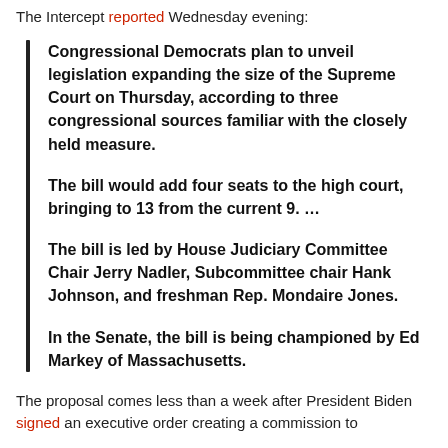The Intercept reported Wednesday evening:
Congressional Democrats plan to unveil legislation expanding the size of the Supreme Court on Thursday, according to three congressional sources familiar with the closely held measure.

The bill would add four seats to the high court, bringing to 13 from the current 9. …

The bill is led by House Judiciary Committee Chair Jerry Nadler, Subcommittee chair Hank Johnson, and freshman Rep. Mondaire Jones.

In the Senate, the bill is being championed by Ed Markey of Massachusetts.
The proposal comes less than a week after President Biden signed an executive order creating a commission to